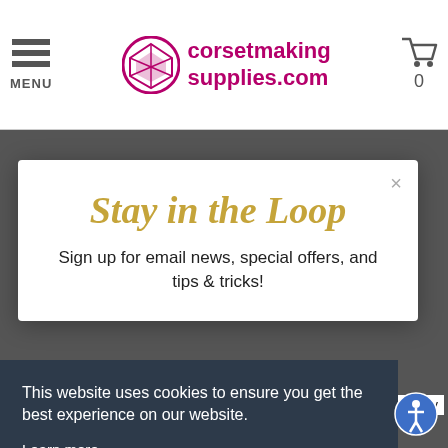MENU | corsetmakingsupplies.com | 0
[Figure (screenshot): Website screenshot with navigation header showing menu icon, corsetmakingsupplies.com logo, and cart icon with 0 count]
Stay in the Loop
Sign up for email news, special offers, and tips & tricks!
This website uses cookies to ensure you get the best experience on our website.
Learn more
Got it!
Policy